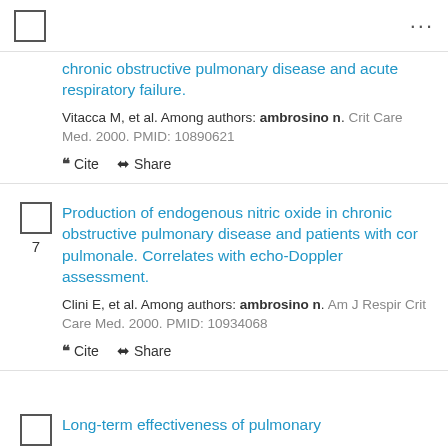checkbox and ellipsis menu
chronic obstructive pulmonary disease and acute respiratory failure. Vitacca M, et al. Among authors: ambrosino n. Crit Care Med. 2000. PMID: 10890621
Cite  Share
Production of endogenous nitric oxide in chronic obstructive pulmonary disease and patients with cor pulmonale. Correlates with echo-Doppler assessment.
Clini E, et al. Among authors: ambrosino n. Am J Respir Crit Care Med. 2000. PMID: 10934068
Cite  Share
Long-term effectiveness of pulmonary